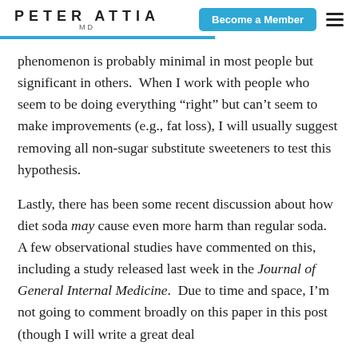PETER ATTIA MD
phenomenon is probably minimal in most people but significant in others. When I work with people who seem to be doing everything “right” but can’t seem to make improvements (e.g., fat loss), I will usually suggest removing all non-sugar substitute sweeteners to test this hypothesis.
Lastly, there has been some recent discussion about how diet soda may cause even more harm than regular soda. A few observational studies have commented on this, including a study released last week in the Journal of General Internal Medicine. Due to time and space, I’m not going to comment broadly on this paper in this post (though I will write a great deal